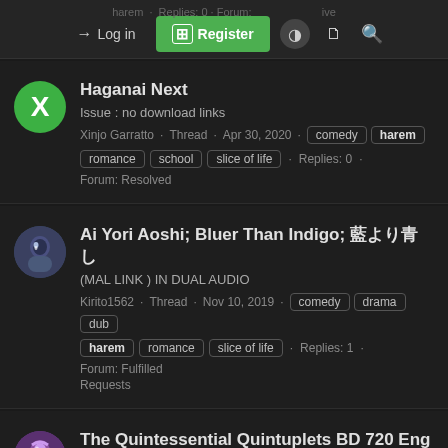harem · Replies: 0 · Forum: ... · Log in · Register
Haganai Next — Issue : no download links — Xinjo Garratto · Thread · Apr 30, 2020 · comedy harem romance school slice of life · Replies: 0 · Forum: Resolved
Ai Yori Aoshi; Bluer Than Indigo; 藍より青し (MAL LINK) IN DUAL AUDIO — Kirito1562 · Thread · Nov 10, 2019 · comedy drama dub harem romance slice of life · Replies: 1 · Forum: Fulfilled Requests
The Quintessential Quintuplets BD 720 Eng sub — Hi. I wanted to request this [DmonHiro] The Quintessential Quintuplets (BD, 720p) [DmonHiro] The Quintessential Quintuplets (BD, 720p) :: Nyaa if you have better source subs its ok to use.